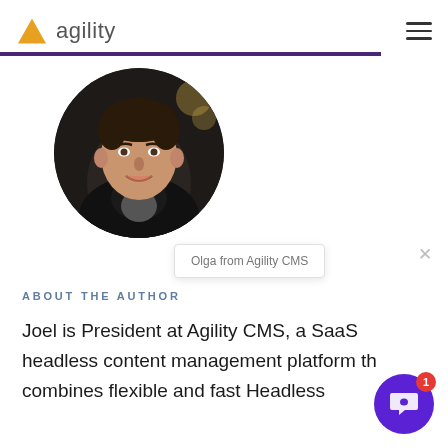agility
[Figure (photo): Circular portrait photo of Joel, a man with dark hair, smiling, wearing a dark jacket, against a dark blurred background.]
Olga from Agility CMS
ABOUT THE AUTHOR
Joel is President at Agility CMS, a SaaS headless content management platform th combines flexible and fast Headless